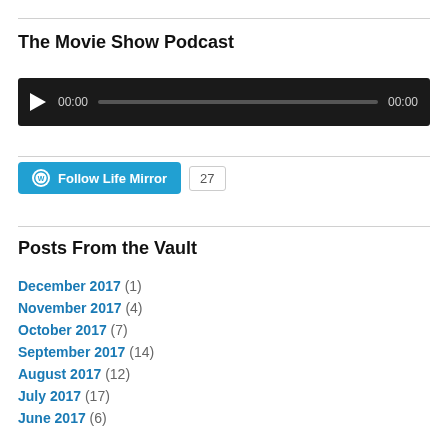The Movie Show Podcast
[Figure (other): Audio player widget with play button, time display 00:00, progress bar, and end time 00:00 on dark background]
[Figure (other): Follow Life Mirror button (blue WordPress-style button) with follower count badge showing 27]
Posts From the Vault
December 2017 (1)
November 2017 (4)
October 2017 (7)
September 2017 (14)
August 2017 (12)
July 2017 (17)
June 2017 (6)